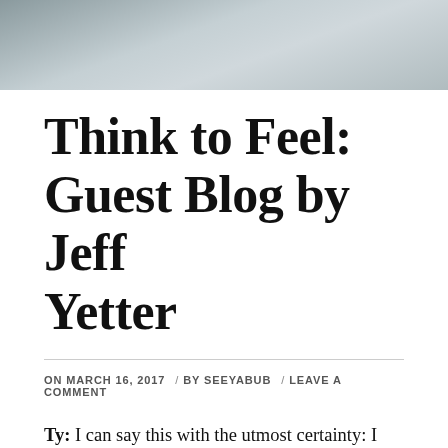[Figure (photo): Cropped photo showing fabric or bedding in grey/white tones at the top of the page]
Think to Feel: Guest Blog by Jeff Yetter
ON MARCH 16, 2017  /  BY SEEYABUB  /  LEAVE A COMMENT
Ty: I can say this with the utmost certainty: I have never once blamed my Dad for his death.